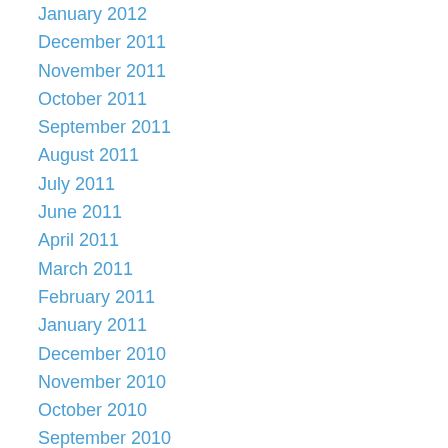January 2012
December 2011
November 2011
October 2011
September 2011
August 2011
July 2011
June 2011
April 2011
March 2011
February 2011
January 2011
December 2010
November 2010
October 2010
September 2010
August 2010
July 2010
June 2010
May 2010